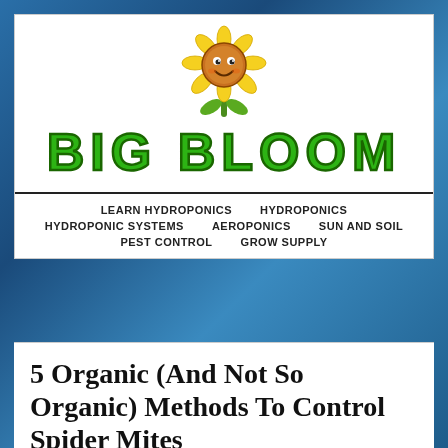[Figure (logo): Big Bloom website logo with cartoon smiling sunflower above large green bold text reading BIG BLOOM]
LEARN HYDROPONICS   HYDROPONICS   HYDROPONIC SYSTEMS   AEROPONICS   SUN AND SOIL   PEST CONTROL   GROW SUPPLY
5 Organic (And Not So Organic) Methods To Control Spider Mites